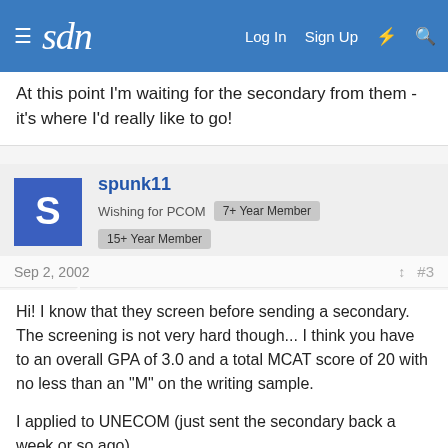sdn  Log In  Sign Up
At this point I'm waiting for the secondary from them - it's where I'd really like to go!
spunk11
Wishing for PCOM  7+ Year Member  15+ Year Member
Sep 2, 2002  #3
Hi! I know that they screen before sending a secondary. The screening is not very hard though... I think you have to an overall GPA of 3.0 and a total MCAT score of 20 with no less than an "M" on the writing sample.

I applied to UNECOM (just sent the secondary back a week or so ago)

Good luck with everything...